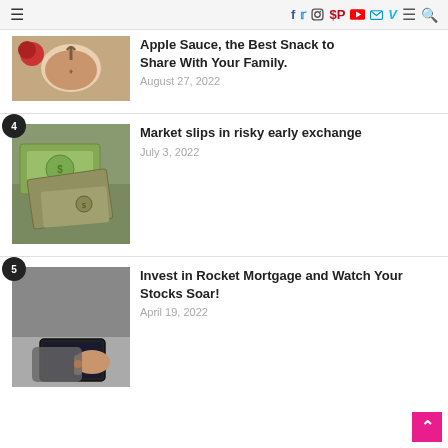≡ [social icons: Facebook, Twitter, Instagram, Pinterest, YouTube, Mail, Vimeo, Menu, Search]
[Figure (photo): Bowl of apple sauce with star anise on dark background]
Apple Sauce, the Best Snack to Share With Your Family.
August 27, 2022
[Figure (photo): US dollar bills spread out, money and finance concept]
Market slips in risky early exchange
July 3, 2022
[Figure (photo): Person using a tablet device, typing on touch screen]
Invest in Rocket Mortgage and Watch Your Stocks Soar!
April 19, 2022